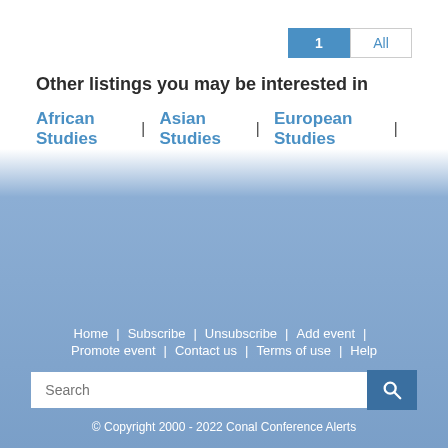1 | All
Other listings you may be interested in
African Studies | Asian Studies | European Studies |
Home | Subscribe | Unsubscribe | Add event | Promote event | Contact us | Terms of use | Help
© Copyright 2000 - 2022 Conal Conference Alerts